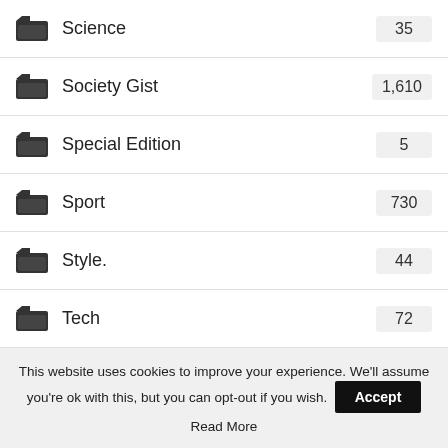Science 35
Society Gist 1,610
Special Edition 5
Sport 730
Style. 44
Tech 72
The Royals 353
Tourism 10
True Confession 26
TrueLife Confession 1
This website uses cookies to improve your experience. We'll assume you're ok with this, but you can opt-out if you wish. Accept Read More